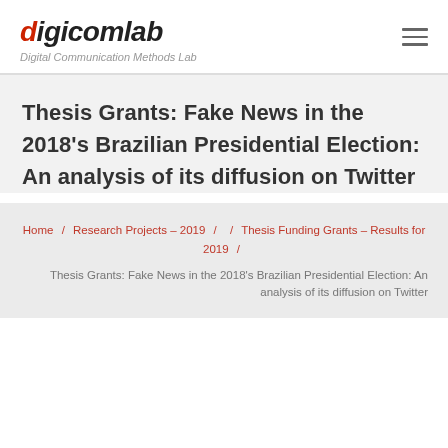digicomlab — Digital Communication Methods Lab
Thesis Grants: Fake News in the 2018's Brazilian Presidential Election: An analysis of its diffusion on Twitter
Home / Research Projects – 2019 / / Thesis Funding Grants – Results for 2019 /
Thesis Grants: Fake News in the 2018's Brazilian Presidential Election: An analysis of its diffusion on Twitter